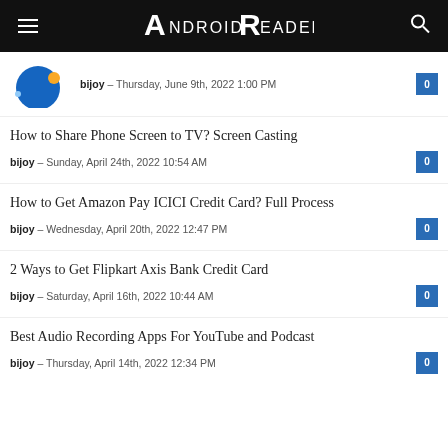AndroidReader
bijoy – Thursday, June 9th, 2022 1:00 PM | 0
How to Share Phone Screen to TV? Screen Casting
bijoy – Sunday, April 24th, 2022 10:54 AM | 0
How to Get Amazon Pay ICICI Credit Card? Full Process
bijoy – Wednesday, April 20th, 2022 12:47 PM | 0
2 Ways to Get Flipkart Axis Bank Credit Card
bijoy – Saturday, April 16th, 2022 10:44 AM | 0
Best Audio Recording Apps For YouTube and Podcast
bijoy – Thursday, April 14th, 2022 12:34 PM | 0